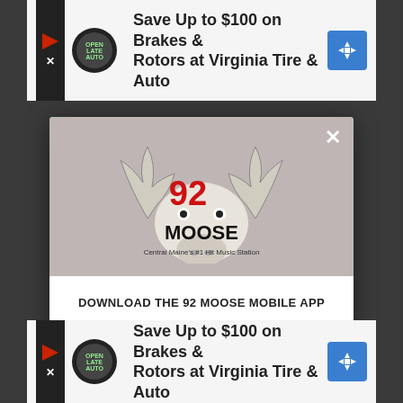[Figure (screenshot): Top advertisement banner: 'Save Up to $100 on Brakes & Rotors at Virginia Tire & Auto' with auto service logo and blue arrow sign]
[Figure (logo): 92 Moose radio station logo — cartoon moose with '92 MOOSE' text and tagline 'Central Maine's #1 Hit Music Station']
DOWNLOAD THE 92 MOOSE MOBILE APP
GET OUR FREE MOBILE APP
Also listen on:  amazon alexa
[Figure (screenshot): Bottom advertisement banner: 'Save Up to $100 on Brakes & Rotors at Virginia Tire & Auto' with auto service logo and blue arrow sign]